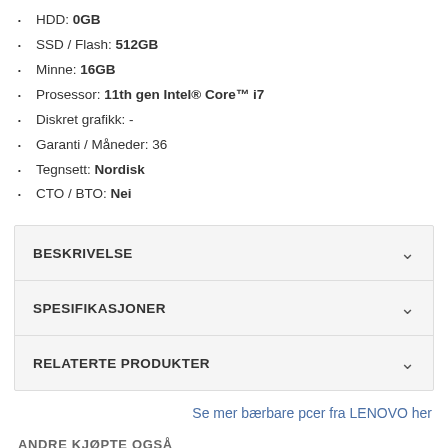HDD: 0GB
SSD / Flash: 512GB
Minne: 16GB
Prosessor: 11th gen Intel® Core™ i7
Diskret grafikk: -
Garanti / Måneder: 36
Tegnsett: Nordisk
CTO / BTO: Nei
BESKRIVELSE
SPESIFIKASJONER
RELATERTE PRODUKTER
Se mer bærbare pcer fra LENOVO her
ANDRE KJØPTE OGSÅ